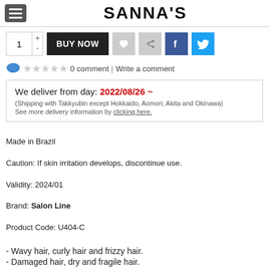SANNA'S
1  +  -  BUY NOW
0 comment  |  Write a comment
We deliver from day: 2022/08/26 ~
(Shipping with Takkyubin except Hokkaido, Aomori, Akita and Okinawa)
See more delivery information by clicking here.
Made in Brazil
Caution: If skin irritation develops, discontinue use.
Validity: 2024/01
Brand: Salon Line
Product Code: U404-C
- Wavy hair, curly hair and frizzy hair.
- Damaged hair, dry and fragile hair.
Enriched with microkeratin, silicone and rice protein, potent actives for an effective treatment. This powerful combination recovers, treats and rebuilds damaged hair.